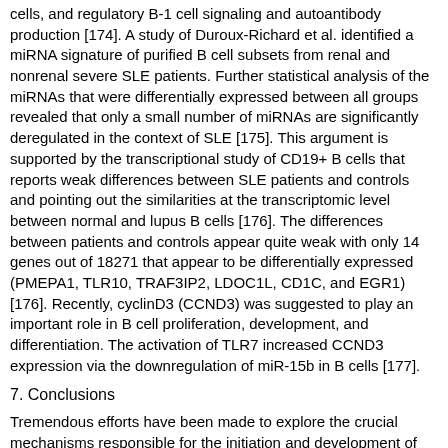cells, and regulatory B-1 cell signaling and autoantibody production [174]. A study of Duroux-Richard et al. identified a miRNA signature of purified B cell subsets from renal and nonrenal severe SLE patients. Further statistical analysis of the miRNAs that were differentially expressed between all groups revealed that only a small number of miRNAs are significantly deregulated in the context of SLE [175]. This argument is supported by the transcriptional study of CD19+ B cells that reports weak differences between SLE patients and controls and pointing out the similarities at the transcriptomic level between normal and lupus B cells [176]. The differences between patients and controls appear quite weak with only 14 genes out of 18271 that appear to be differentially expressed (PMEPA1, TLR10, TRAF3IP2, LDOC1L, CD1C, and EGR1) [176]. Recently, cyclinD3 (CCND3) was suggested to play an important role in B cell proliferation, development, and differentiation. The activation of TLR7 increased CCND3 expression via the downregulation of miR-15b in B cells [177].
7. Conclusions
Tremendous efforts have been made to explore the crucial mechanisms responsible for the initiation and development of the autoimmunity. Although significant progress has taken place, there is still a strong need for reliable biomarkers for diagnosis and monitoring of the disease. Moreover, novel, efficient, and safe therapies need to be developed. Understanding of the role of microRNAs in the regulation of abnormal and imbalanced activation of immune responses may represent the new possibilities for development of better monitoring and therapies.
https://doi.org/10.1155/2018/4126106